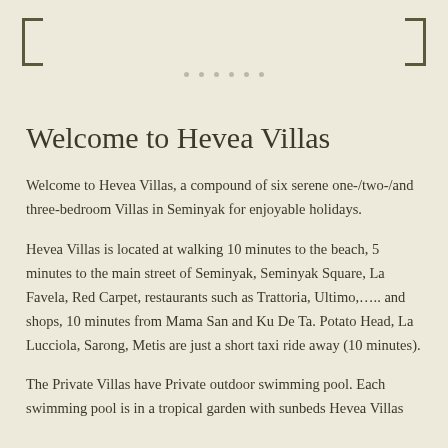Welcome to Hevea Villas
Welcome to Hevea Villas, a compound of six serene one-/two-/and three-bedroom Villas in Seminyak for enjoyable holidays.
Hevea Villas is located at walking 10 minutes to the beach, 5 minutes to the main street of Seminyak, Seminyak Square, La Favela, Red Carpet, restaurants such as Trattoria, Ultimo,….. and shops, 10 minutes from Mama San and Ku De Ta. Potato Head, La Lucciola, Sarong, Metis are just a short taxi ride away (10 minutes).
The Private Villas have Private outdoor swimming pool. Each swimming pool is in a tropical garden with sunbeds Hevea Villas